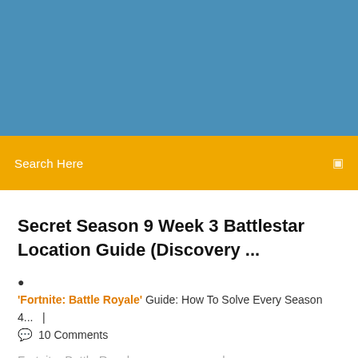[Figure (other): Blue header image/banner area]
Search Here
Secret Season 9 Week 3 Battlestar Location Guide (Discovery ...
'Fortnite: Battle Royale' Guide: How To Solve Every Season 4...  |  10 Comments
Fortnite: Battle Royale — мультиплатформенная